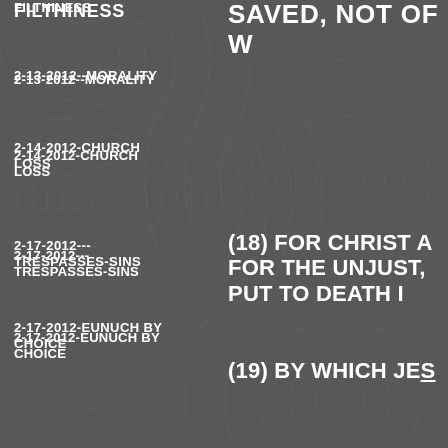FILTHINESS (partial, top)
SAVED, NOT OF W (partial, top right)
2-13-2012--MORALITY
2-14-2012-CHURCH LOSS
2-17-2012---TRESPASSES-SINS
2-17-2012-EUNUCH BY CHOICE
2-18-2012-POOR BY CHOICE
2-18-2012-THE SEVENTH DAY
2-19-2012-THE UNFORGIVABLE SIN
(18) FOR CHRIST A FOR THE UNJUST, PUT TO DEATH I
(19) BY WHICH JE
(20) WHICH SOME LONGSUFFERING WHILE THE ARK W SO